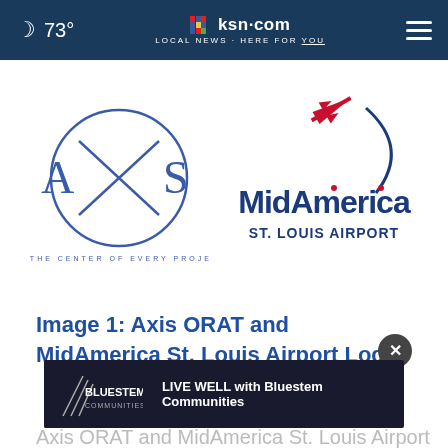🌙 73° | ksn.com LOCAL NEWS · HERE FOR YOU | ☰
[Figure (logo): AXIS logo — circular design with text 'AT THE CENTER OF EVERY PROJECT' — and MidAmerica St. Louis Airport logo with airplane graphic]
Image 1: Axis ORAT and MidAmerica St. Louis Airport Logos
[Figure (other): Advertisement banner: Bluestem Communities — LIVE WELL with Bluestem Communities]
Axis ORAT and MidAmerica St. Louis Airport